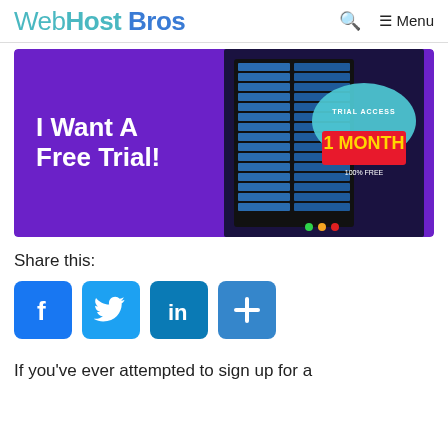WebHost Bros
[Figure (illustration): Purple banner with text 'I Want A Free Trial!' on the left and a server rack illustration on the right with a speech bubble showing 'TRIAL ACCESS 1 MONTH' badge in red and blue.]
Share this:
[Figure (infographic): Social share buttons: Facebook (f), Twitter (bird), LinkedIn (in), and a plus/more button — all in blue rounded square icons.]
If you've ever attempted to sign up for a